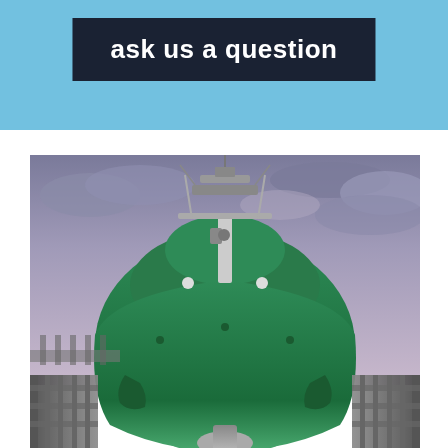ask us a question
[Figure (photo): Front bow view of a large green ship (vessel) in dry dock, with navigation equipment and antennas on top, overcast dramatic sky in background, industrial dry dock structures visible on both sides at bottom.]